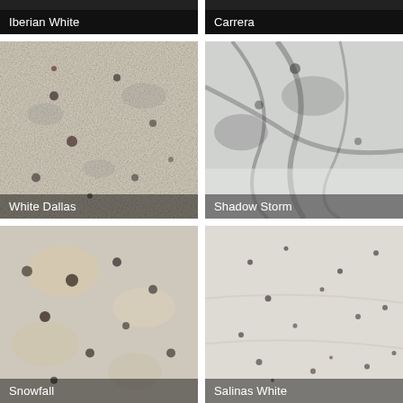[Figure (photo): Iberian White granite texture, partially cropped at top of page]
[Figure (photo): Carrera marble/granite texture, partially cropped at top of page]
[Figure (photo): White Dallas granite texture with dark speckles and reddish spots on white background]
[Figure (photo): Shadow Storm marble texture with dark veining on white/grey background]
[Figure (photo): Snowfall granite texture with beige and dark speckles on white background]
[Figure (photo): Salinas White granite texture with small dark speckles on white background]